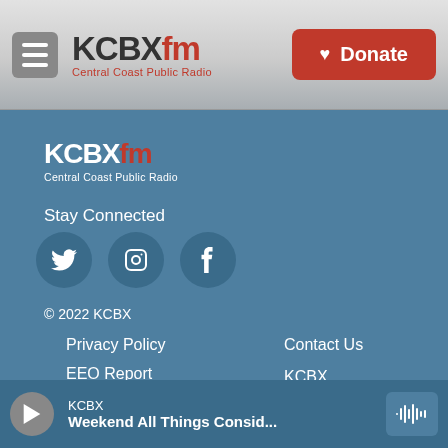KCBX FM Central Coast Public Radio — Donate
[Figure (logo): KCBX FM Central Coast Public Radio logo in footer]
Stay Connected
[Figure (infographic): Social media icons: Twitter, Instagram, Facebook]
© 2022 KCBX
Privacy Policy
EEO Report
KCBX, KSBX, KNBX
Public Files
Contact Us
KCBX Newsletters
KCBX — Weekend All Things Consid...